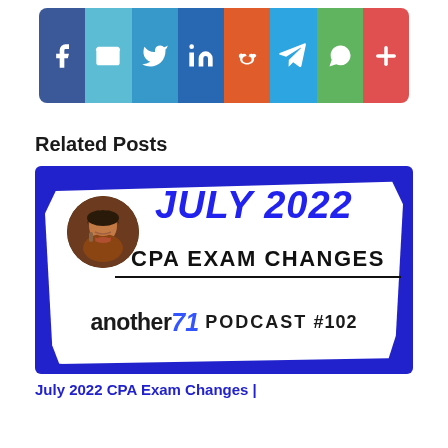[Figure (infographic): Social media share buttons bar with icons for Facebook, Email, Twitter, LinkedIn, Reddit, Telegram, WhatsApp, and More (plus sign). Each button is a different color block.]
Related Posts
[Figure (illustration): Promotional image for 'July 2022 CPA Exam Changes | another71 Podcast #102' with a blue background, wavy white shape, circular photo of a bearded man, and bold text.]
July 2022 CPA Exam Changes |